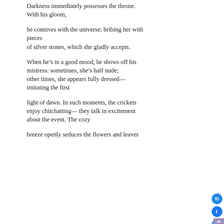Darkness immediately possesses the throne.
With his gloom,

he connives with the universe; bribing her with pieces
of silver stones, which she gladly accepts.

When he's in a good mood, he shows off his
mistress: sometimes, she's half nude;
other times, she appears fully dressed—
imitating the first

light of dawn. In such moments, the crickets
enjoy chitchatting— they talk in excitement
about the event. The cozy

breeze openly seduces the flowers and leaves